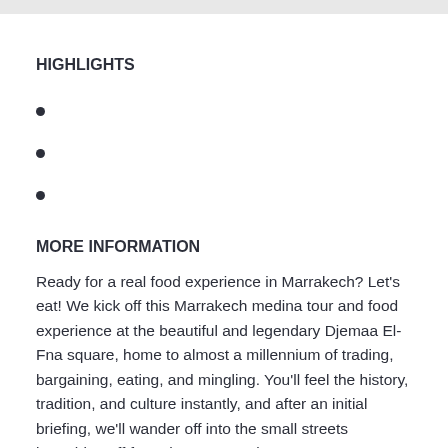HIGHLIGHTS
MORE INFORMATION
Ready for a real food experience in Marrakech? Let’s eat! We kick off this Marrakech medina tour and food experience at the beautiful and legendary Djemaa El-Fna square, home to almost a millennium of trading, bargaining, eating, and mingling. You’ll feel the history, tradition, and culture instantly, and after an initial briefing, we’ll wander off into the small streets branching off from the square. Along